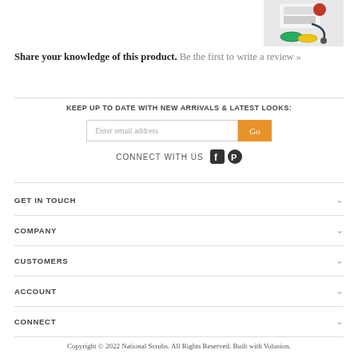[Figure (photo): Product photo showing medical/nursing accessories including colored bands and stethoscope on a white background]
Share your knowledge of this product. Be the first to write a review »
KEEP UP TO DATE WITH NEW ARRIVALS & LATEST LOOKS:
CONNECT WITH US
GET IN TOUCH
COMPANY
CUSTOMERS
ACCOUNT
CONNECT
Copyright © 2022 National Scrubs. All Rights Reserved. Built with Volusion.